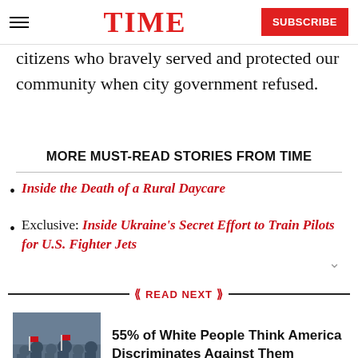TIME | SUBSCRIBE
citizens who bravely served and protected our community when city government refused.
MORE MUST-READ STORIES FROM TIME
Inside the Death of a Rural Daycare
Exclusive: Inside Ukraine's Secret Effort to Train Pilots for U.S. Fighter Jets
READ NEXT
55% of White People Think America Discriminates Against Them